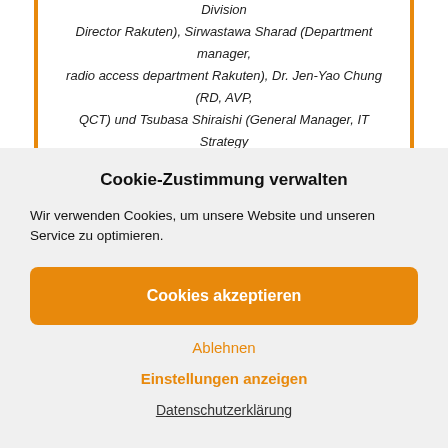Vice President Rakuten), Tareq Amin (CTO, Network Division Director Rakuten), Sirwastawa Sharad (Department manager, radio access department Rakuten), Dr. Jen-Yao Chung (RD, AVP, QCT) und Tsubasa Shiraishi (General Manager, IT Strategy Department, Rakuten) im Rakuten Testlabor © QCT
Cookie-Zustimmung verwalten
Wir verwenden Cookies, um unsere Website und unseren Service zu optimieren.
Cookies akzeptieren
Ablehnen
Einstellungen anzeigen
Datenschutzerklärung